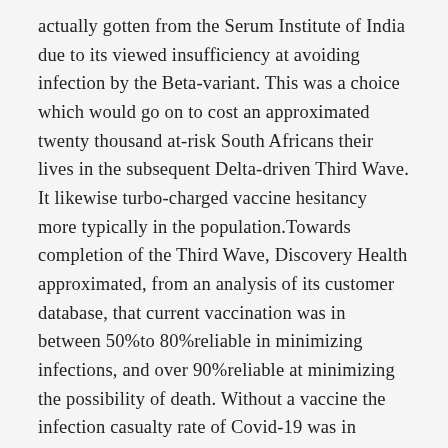actually gotten from the Serum Institute of India due to its viewed insufficiency at avoiding infection by the Beta-variant. This was a choice which would go on to cost an approximated twenty thousand at-risk South Africans their lives in the subsequent Delta-driven Third Wave. It likewise turbo-charged vaccine hesitancy more typically in the population.Towards completion of the Third Wave, Discovery Health approximated, from an analysis of its customer database, that current vaccination was in between 50%to 80%reliable in minimizing infections, and over 90%reliable at minimizing the possibility of death. Without a vaccine the infection casualty rate of Covid-19 was in between 8 to 10 times greater than with influenza. After vaccination it dropped to lower than that from the influenza.The Johnson & Johnson and Pfizer vaccines got here far too late nevertheless to conserve the near a quarter-of-a-million individuals who passed away from